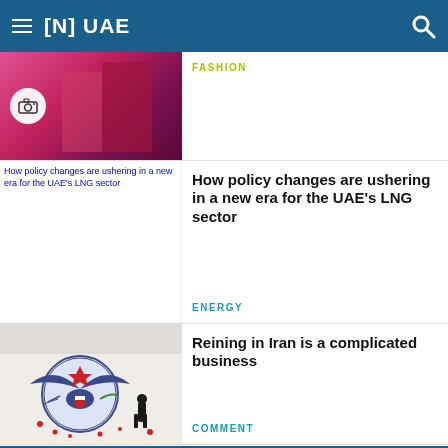≡ [N] UAE
[Figure (photo): Fashion photo showing women in colorful saris with camera icon overlay]
FASHION
[Figure (photo): Broken image placeholder with alt text: How policy changes are ushering in a new era for the UAE's LNG sector]
How policy changes are ushering in a new era for the UAE's LNG sector
ENERGY
[Figure (photo): Photo of an Iranian mural showing the US eagle seal with a person standing in front of it]
Reining in Iran is a complicated business
COMMENT
NEWSLETTERS